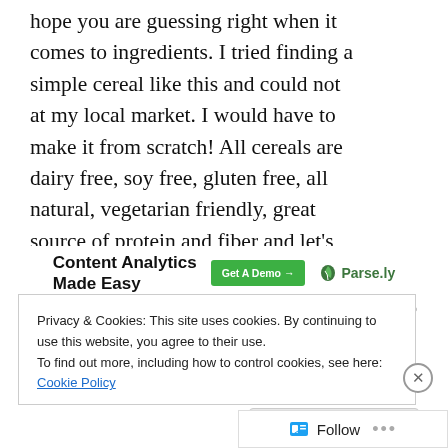hope you are guessing right when it comes to ingredients. I tried finding a simple cereal like this and could not at my local market. I would have to make it from scratch!  All cereals are dairy free, soy free, gluten free, all natural, vegetarian friendly, great source of protein and fiber and let's not overlook the 9 essential amino acids you get in every serving.
[Figure (infographic): Parse.ly advertisement banner: 'Content Analytics Made Easy' with a green 'Get A Demo →' button and Parse.ly logo with leaf icon. 'REPORT THIS AD' text below.]
Privacy & Cookies: This site uses cookies. By continuing to use this website, you agree to their use.
To find out more, including how to control cookies, see here: Cookie Policy
Close and accept
Follow